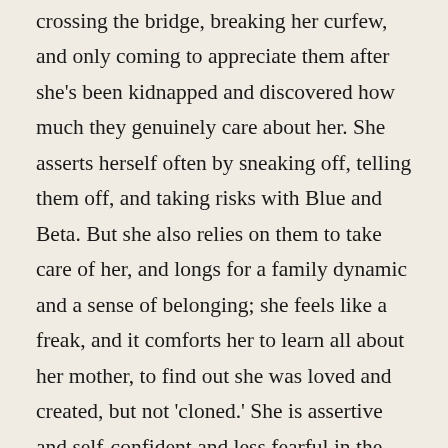crossing the bridge, breaking her curfew, and only coming to appreciate them after she's been kidnapped and discovered how much they genuinely care about her. She asserts herself often by sneaking off, telling them off, and taking risks with Blue and Beta. But she also relies on them to take care of her, and longs for a family dynamic and a sense of belonging; she feels like a freak, and it comforts her to learn all about her mother, to find out she was loved and created, but not 'cloned.' She is assertive and self-confident and less fearful in the final chapter (assuming that Blue won't hurt her, but still being cautious around her and Beta), but is also loyal to her parents, and tends to find others to stand with her. She relies on Owen and Claire to save her in the first movie, and then joins up with Ellie and Grant in the second, as if she thinks it's safer to be with people in